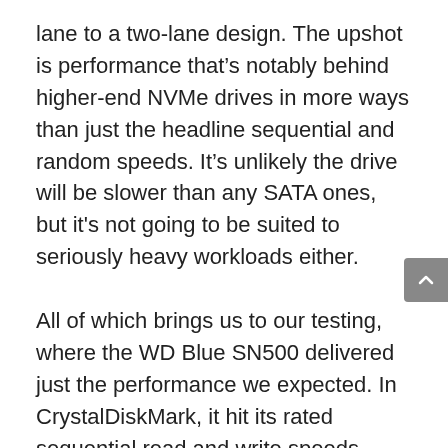lane to a two-lane design. The upshot is performance that's notably behind higher-end NVMe drives in more ways than just the headline sequential and random speeds. It's unlikely the drive will be slower than any SATA ones, but it's not going to be suited to seriously heavy workloads either.
All of which brings us to our testing, where the WD Blue SN500 delivered just the performance we expected. In CrystalDiskMark, it hit its rated sequential read and write speeds almost exactly. It was similarly exacting in its random read speed performance, though random write speeds were a